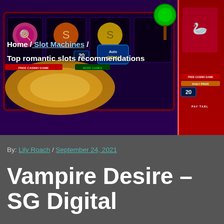[Figure (screenshot): Slot machine game screenshot showing colorful candy-themed slot interface with Auto Spin button, Free Casino Game bar, and number 20 badge]
Home / Slot Machines / Top romantic slots recommendations
By: Lily Roach / September 24, 2021
Vampire Desire – SG Digital
[Figure (screenshot): Vampire Night slot machine game screenshot showing game reels with gothic symbols, scores: 290 830, 139 201, 4 410 927, 2 674 094]